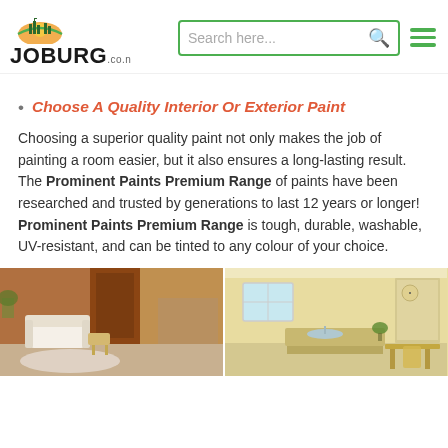Joburg.co.za — Search here...
Choose A Quality Interior Or Exterior Paint
Choosing a superior quality paint not only makes the job of painting a room easier, but it also ensures a long-lasting result. The Prominent Paints Premium Range of paints have been researched and trusted by generations to last 12 years or longer! Prominent Paints Premium Range is tough, durable, washable, UV-resistant, and can be tinted to any colour of your choice.
[Figure (photo): Two interior room photos showing painted walls — left image shows a living room with burnt orange/terracotta accent wall and white armchair; right image shows a kitchen/dining area with yellow painted walls.]